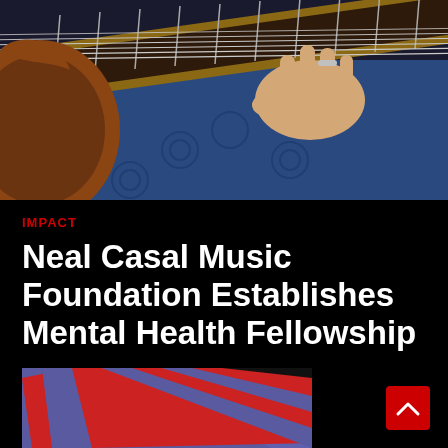[Figure (photo): Close-up photo of a person playing an electric guitar, wearing a blue patterned shirt, with a ring on one finger. Brown guitar body visible on the left.]
IMPACT
Neal Casal Music Foundation Establishes Mental Health Fellowship
[Figure (photo): Partial photo of an American flag with red and white diagonal stripes on a dark background.]